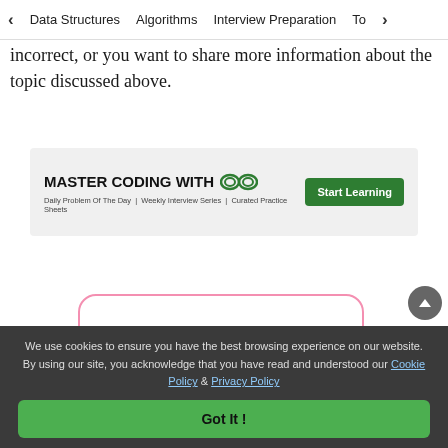< Data Structures   Algorithms   Interview Preparation   To>
incorrect, or you want to share more information about the topic discussed above.
[Figure (infographic): GeeksForGeeks ad banner: MASTER CODING WITH GfG logo, Daily Problem Of The Day | Weekly Interview Series | Curated Practice Sheets, Start Learning button]
[Figure (infographic): Like button with heart icon showing count 67, inside a rounded rectangle with pink border]
We use cookies to ensure you have the best browsing experience on our website. By using our site, you acknowledge that you have read and understood our Cookie Policy & Privacy Policy
Got It !